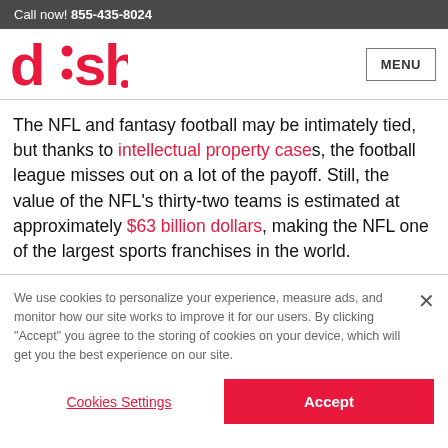Call now! 855-435-8024
[Figure (logo): DISH Network logo in red with stylized 'd:sh.' text and MENU button top right]
The NFL and fantasy football may be intimately tied, but thanks to intellectual property cases, the football league misses out on a lot of the payoff. Still, the value of the NFL's thirty-two teams is estimated at approximately $63 billion dollars, making the NFL one of the largest sports franchises in the world.
We use cookies to personalize your experience, measure ads, and monitor how our site works to improve it for our users. By clicking "Accept" you agree to the storing of cookies on your device, which will get you the best experience on our site.
Cookies Settings
Accept